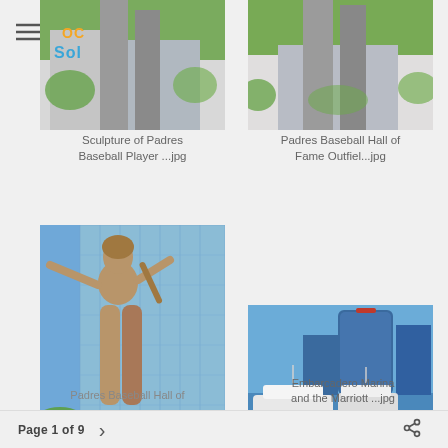[Figure (photo): Partial view of a Padres baseball player sculpture from below, with OC Sol logo overlay, blue sky and foliage visible]
Sculpture of Padres Baseball Player...jpg
[Figure (photo): Partial view of a Padres Baseball Hall of Fame outfielder sculpture legs, against white building and foliage]
Padres Baseball Hall of Fame Outfiel...jpg
[Figure (photo): Padres Baseball Hall of Fame bronze statue of a batter swinging, in front of glass building]
Padres Baseball Hall of...
[Figure (photo): Embarcadero Marina with tall modern hotel buildings and yachts docked in the foreground under blue sky]
Embarcadero Marina and the Marriott ...jpg
Page 1 of 9